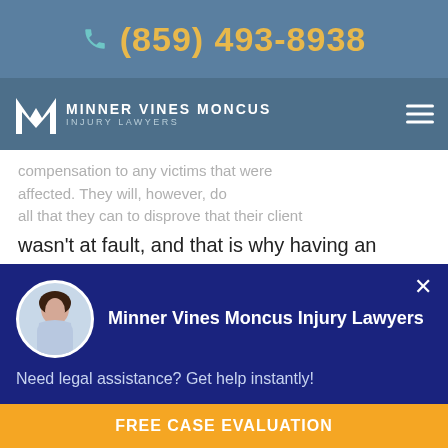(859) 493-8938
[Figure (logo): Minner Vines Moncus Injury Lawyers logo with hamburger menu]
compensation to any victims that were affected. They will, however, do all that they can to disprove that their client wasn't at fault, and that is why having an experienced attorney by your side is your best bet to secure recovery.
Medical Malpractice – We trust our lives with
[Figure (screenshot): Chat popup from Minner Vines Moncus Injury Lawyers with avatar, message 'Need legal assistance? Get help instantly!' and FREE CASE EVALUATION button]